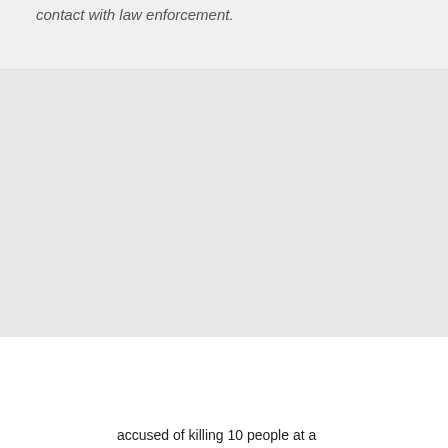contact with law enforcement.
[Figure (other): Gray placeholder content area]
[Figure (screenshot): Associated Press tweet embed card showing @AP Twitter account with verified badge and Follow link, overlaid by Townhall VIP advertisement banner]
accused of killing 10 people at a